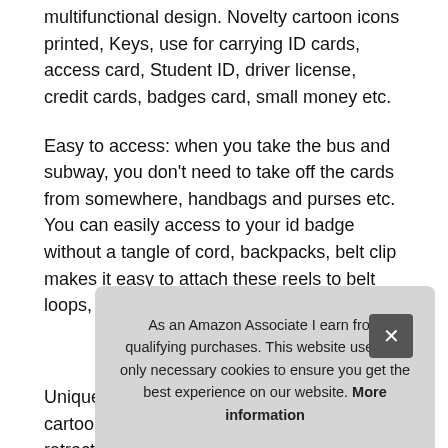multifunctional design. Novelty cartoon icons printed, Keys, use for carrying ID cards, access card, Student ID, driver license, credit cards, badges card, small money etc.
Easy to access: when you take the bus and subway, you don't need to take off the cards from somewhere, handbags and purses etc. You can easily access to your id badge without a tangle of cord, backpacks, belt clip makes it easy to attach these reels to belt loops, .
More information #ad
Unique & beautiful structure : featuring cartoon character on credit card case and retractable reel, 1 slot with ID window in Fro... orga... reel...
Pre...
As an Amazon Associate I earn from qualifying purchases. This website uses the only necessary cookies to ensure you get the best experience on our website. More information